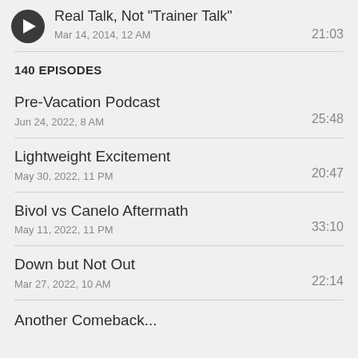Real Talk, Not "Trainer Talk" · Mar 14, 2014, 12 AM · 21:03
140 EPISODES
Pre-Vacation Podcast · Jun 24, 2022, 8 AM · 25:48
Lightweight Excitement · May 30, 2022, 11 PM · 20:47
Bivol vs Canelo Aftermath · May 11, 2022, 11 PM · 33:10
Down but Not Out · Mar 27, 2022, 10 AM · 22:14
Another Comeback